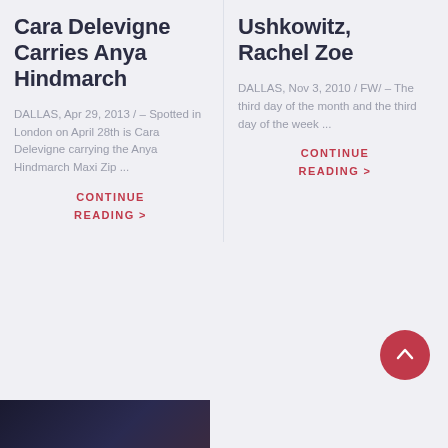Cara Delevigne Carries Anya Hindmarch
DALLAS, Apr 29, 2013 / – Spotted in London on April 28th is Cara Delevigne carrying the Anya Hindmarch Maxi Zip ...
CONTINUE READING >
Donna Ushkowitz, Rachel Zoe
DALLAS, Nov 3, 2010 / FW/ – The third day of the month and the third day of the week ...
CONTINUE READING >
[Figure (photo): Dark photo at bottom left of page, partially visible]